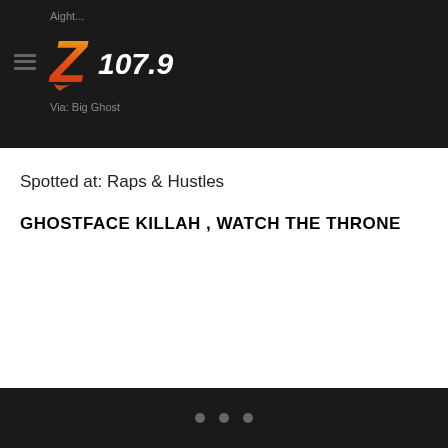Aight...
[Figure (logo): Z107.9 radio station logo with stylized Z in red-orange gradient and white text '107.9']
Via: Big Ghost
Spotted at: Raps & Hustles
GHOSTFACE KILLAH , WATCH THE THRONE
• • •